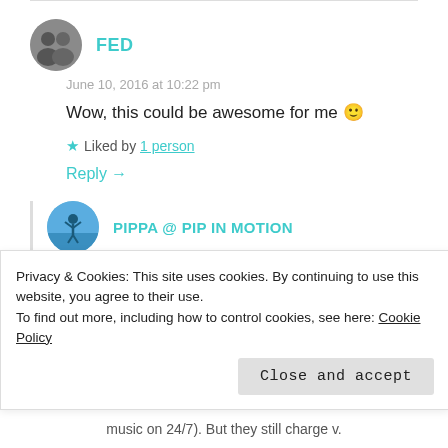FED
June 10, 2016 at 10:22 pm
Wow, this could be awesome for me 🙂
Liked by 1 person
Reply →
PIPPA @ PIP IN MOTION
June 11, 2016 at 2:26 pm
Privacy & Cookies: This site uses cookies. By continuing to use this website, you agree to their use.
To find out more, including how to control cookies, see here: Cookie Policy
Close and accept
music on 24/7). But they still charge v.